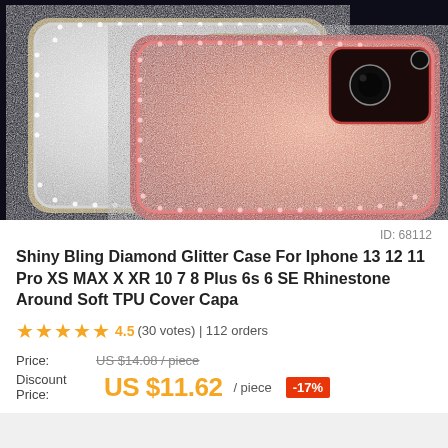[Figure (photo): Two glitter phone cases with rhinestone borders — one silver/gold and one rose gold/pink — photographed on a dark background]
ID: 68112
Shiny Bling Diamond Glitter Case For Iphone 13 12 11 Pro XS MAX X XR 10 7 8 Plus 6s 6 SE Rhinestone Around Soft TPU Cover Capa
★★★★★ 4.5 (30 votes) | 112 orders
Price: US $14.08 / piece
Discount Price: US $11.62 / piece -17%